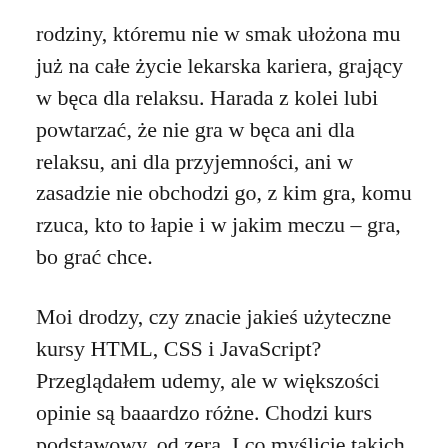rodziny, któremu nie w smak ułożona mu już na całe życie lekarska kariera, grający w bęca dla relaksu. Harada z kolei lubi powtarzać, że nie gra w bęca ani dla relaksu, ani dla przyjemności, ani w zasadzie nie obchodzi go, z kim gra, komu rzuca, kto to łapie i w jakim meczu – gra, bo grać chce.
Moi drodzy, czy znacie jakieś użyteczne kursy HTML, CSS i JavaScript? Przeglądałem udemy, ale w większości opinie są baaardzo różne. Chodzi kurs podstawowy, od zera. I co myślicie takich stronach jak w3schools, codeacademy? W sieci często zarzucają, że kursy są nieaktualne i pełne błędów.